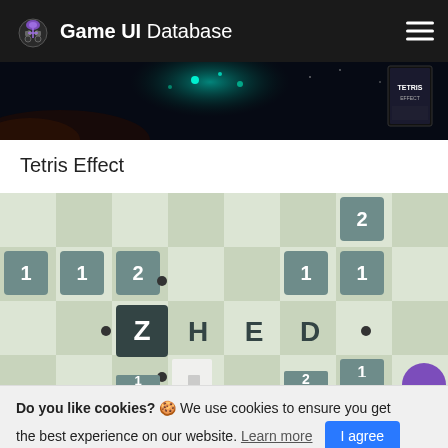Game UI Database
[Figure (screenshot): Tetris Effect game banner — dark space/underwater scene with teal particles and a small game box cover in the top right corner]
Tetris Effect
[Figure (screenshot): ZHED puzzle game screenshot showing a light green grid with numbered tiles (1,1,2 on the left; 2,1,1 and 1, 2,2 on the right), bullet dots, and the word ZHED spelled out with Z in a dark tile, H E D in text, with a white square target cell]
Do you like cookies? 🍪 We use cookies to ensure you get the best experience on our website. Learn more | I agree